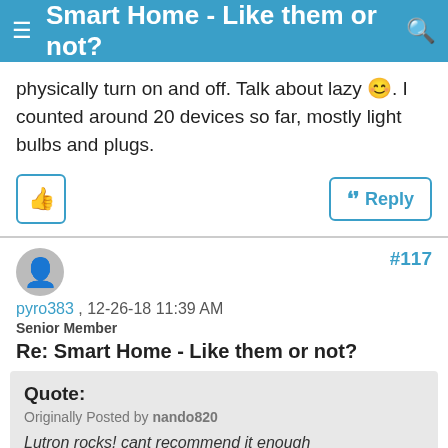Smart Home - Like them or not?
physically turn on and off. Talk about lazy 😊. I counted around 20 devices so far, mostly light bulbs and plugs.
#117
pyro383 , 12-26-18 11:39 AM
Senior Member
Re: Smart Home - Like them or not?
Quote:
Originally Posted by nando820
Lutron rocks! cant recommend it enough

Question what are some good color changing bulbs and LED strips for behind the TV. I want to setup moods for TV/movie watching like some pics I seen online